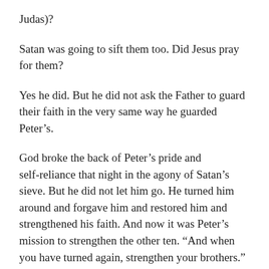Judas)?
Satan was going to sift them too. Did Jesus pray for them?
Yes he did. But he did not ask the Father to guard their faith in the very same way he guarded Peter’s.
God broke the back of Peter’s pride and self-reliance that night in the agony of Satan’s sieve. But he did not let him go. He turned him around and forgave him and restored him and strengthened his faith. And now it was Peter’s mission to strengthen the other ten. “And when you have turned again, strengthen your brothers.”